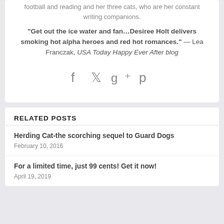football and reading and her three cats, who are her constant writing companions.
“Get out the ice water and fan…Desiree Holt delivers smoking hot alpha heroes and red hot romances.” — Lea Franczak, USA Today Happy Ever After blog
[Figure (other): Social media share icons: Facebook, Twitter, Google+, Pinterest]
RELATED POSTS
Herding Cat-the scorching sequel to Guard Dogs
February 10, 2016
For a limited time, just 99 cents! Get it now!
April 19, 2019